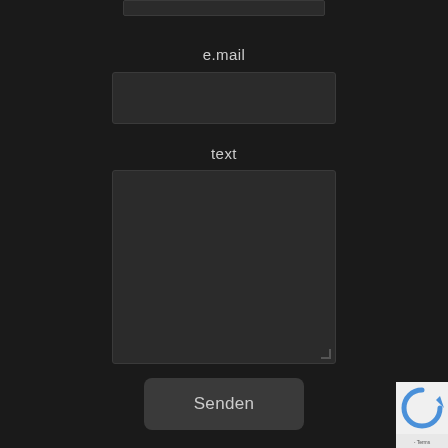[Figure (screenshot): Dark-themed contact form UI showing a partially visible top input bar, an email field label and input, a text area label and textarea, a Senden (Send) button, and a partial reCAPTCHA widget in the bottom-right corner.]
e.mail
text
Senden